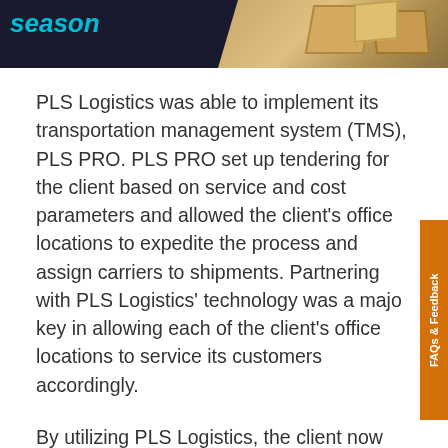[Figure (photo): Dark background banner image with text and shipping boxes, partial view showing top portion of a logistics/shipping promotional banner]
PLS Logistics was able to implement its transportation management system (TMS), PLS PRO. PLS PRO set up tendering for the client based on service and cost parameters and allowed the client's office locations to expedite the process and assign carriers to shipments. Partnering with PLS Logistics' technology was a major key in allowing each of the client's office locations to service its customers accordingly.
By utilizing PLS Logistics, the client now has:
Real-time performance data by location, region, or the entire organization
Real-time visibility to shipment status